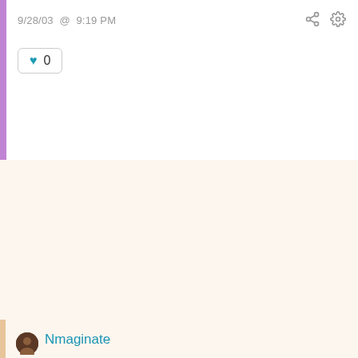9/28/03 @ 9:19 PM
0
Nmaginate
Interesting... Ricardo.

The disproportionate incarceration of Blacks theoretically would have more than just that effect but that, indeed, may be a definite intended one.

Since we're postulating, I think your 3/5's idea fits into my philosophy of the historical aspects of Race Relations in the sense of Actions and Reactions in the virtual Give and Take, Winning vs. Losing adversarial relationship that exist that no hardly likes to acknowledge directly. Certainly